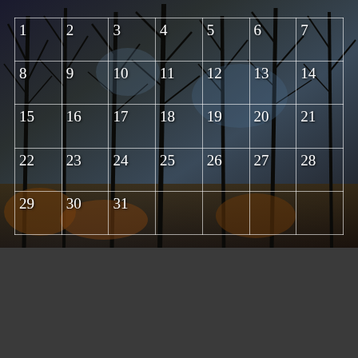[Figure (photo): Dark autumn/winter forest background with bare tree branches against a dusky sky, with an overlaid calendar grid showing days 1-31]
| 1 | 2 | 3 | 4 | 5 | 6 | 7 |
| 8 | 9 | 10 | 11 | 12 | 13 | 14 |
| 15 | 16 | 17 | 18 | 19 | 20 | 21 |
| 22 | 23 | 24 | 25 | 26 | 27 | 28 |
| 29 | 30 | 31 |  |  |  |  |
e-Newsletter
Click HERE to Subscribe